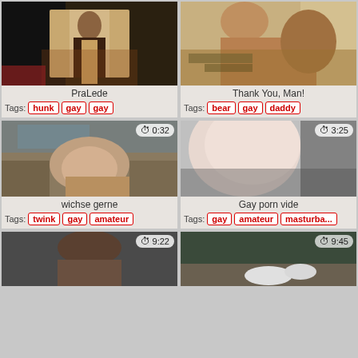[Figure (photo): Video thumbnail - PraLede]
PraLede
Tags: hunk gay gay
[Figure (photo): Video thumbnail - Thank You, Man!]
Thank You, Man!
Tags: bear gay daddy
[Figure (photo): Video thumbnail - wichse gerne, duration 0:32]
wichse gerne
Tags: twink gay amateur
[Figure (photo): Video thumbnail - Gay porn vide, duration 3:25]
Gay porn vide
Tags: gay amateur masturba...
[Figure (photo): Video thumbnail, duration 9:22]
[Figure (photo): Video thumbnail, duration 9:45]